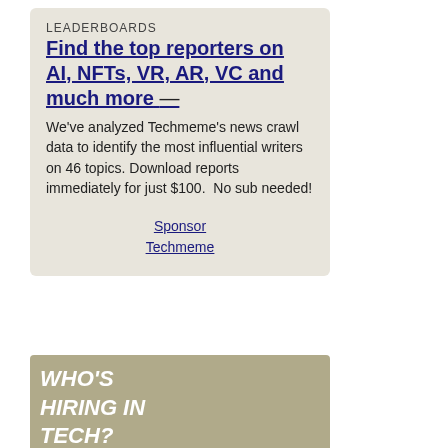LEADERBOARDS
Find the top reporters on AI, NFTs, VR, AR, VC and much more
— We've analyzed Techmeme's news crawl data to identify the most influential writers on 46 topics. Download reports immediately for just $100.  No sub needed!
Sponsor Techmeme
[Figure (other): WHO'S HIRING IN TECH? banner advertisement with olive/khaki background]